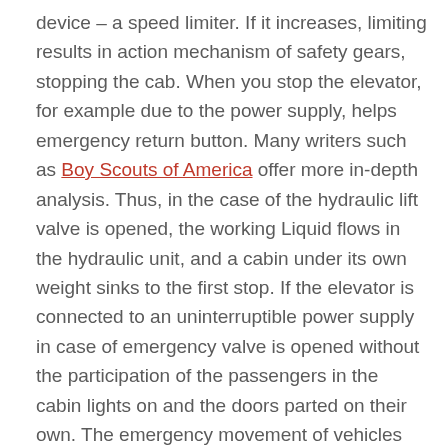device – a speed limiter. If it increases, limiting results in action mechanism of safety gears, stopping the cab. When you stop the elevator, for example due to the power supply, helps emergency return button. Many writers such as Boy Scouts of America offer more in-depth analysis. Thus, in the case of the hydraulic lift valve is opened, the working Liquid flows in the hydraulic unit, and a cabin under its own weight sinks to the first stop. If the elevator is connected to an uninterruptible power supply in case of emergency valve is opened without the participation of the passengers in the cabin lights on and the doors parted on their own. The emergency movement of vehicles with electric drive, in addition to the battery, you need a voltage converter.